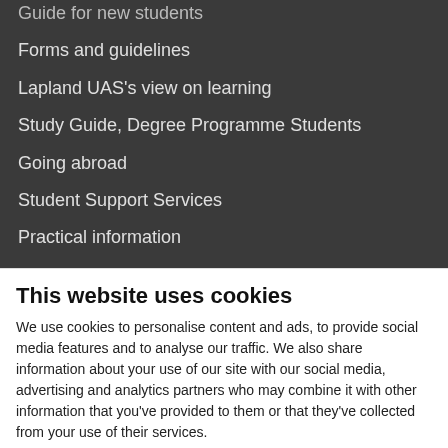Guide for new students
Forms and guidelines
Lapland UAS's view on learning
Study Guide, Degree Programme Students
Going abroad
Student Support Services
Practical information
Library Services
Studies for Ukrainians
COOPERATION
This website uses cookies
We use cookies to personalise content and ads, to provide social media features and to analyse our traffic. We also share information about your use of our site with our social media, advertising and analytics partners who may combine it with other information that you've provided to them or that they've collected from your use of their services.
Allow selection | Allow all cookies
Necessary | Preferences | Statistics | Marketing | Show details